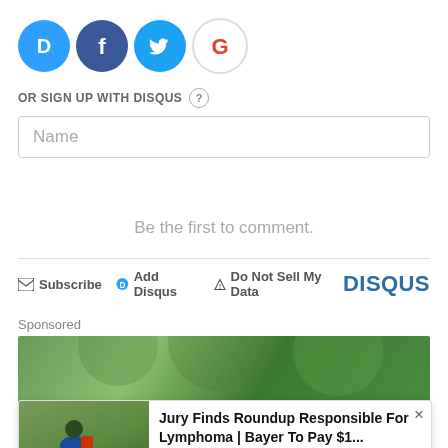[Figure (logo): Four social login icons: Disqus (blue D), Facebook (blue f), Twitter (blue bird), Google (G)]
OR SIGN UP WITH DISQUS ?
Name
Be the first to comment.
Subscribe  Add Disqus  Do Not Sell My Data  DISQUS
Sponsored
Jury Finds Roundup Responsible For Lymphoma | Bayer To Pay $1...
National Injury Bureau | Sponsored